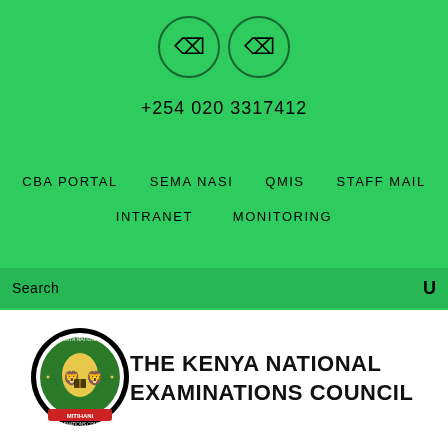[Figure (screenshot): Green navigation header with two circular icons]
+254 020 3317412
CBA PORTAL   SEMA NASI   QMIS   STAFF MAIL
INTRANET   MONITORING
Search
[Figure (logo): Kenya National Examinations Council coat of arms logo]
THE KENYA NATIONAL EXAMINATIONS COUNCIL